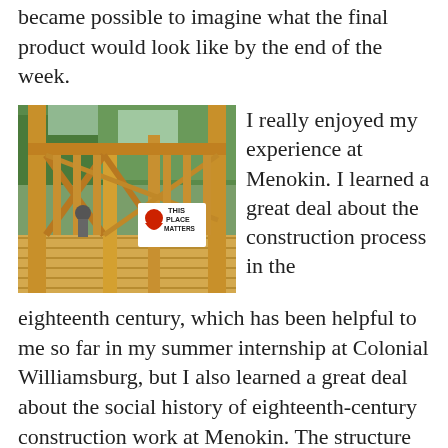became possible to imagine what the final product would look like by the end of the week.
[Figure (photo): Construction photo showing wooden framing of a structure, viewed from inside. Workers visible in background. A white sign with a red location pin reads 'THIS PLACE MATTERS'. Wooden deck flooring in foreground, green trees visible through open frame.]
I really enjoyed my experience at Menokin. I learned a great deal about the construction process in the eighteenth century, which has been helpful to me so far in my summer internship at Colonial Williamsburg, but I also learned a great deal about the social history of eighteenth-century construction work at Menokin. The structure we were erecting is a reconstruction of enslaved worker housing, which